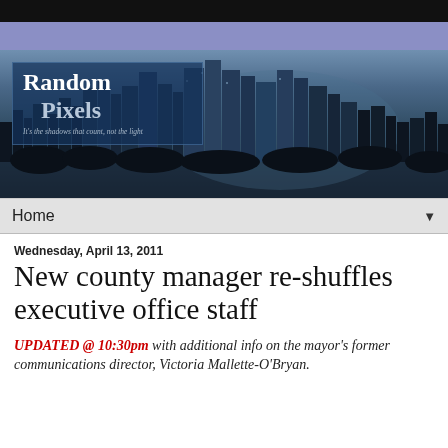[Figure (photo): Random Pixels blog header with city skyline at dusk/night and logo overlay reading 'Random Pixels — It's the shadows that count, not the light']
Home ▼
Wednesday, April 13, 2011
New county manager re-shuffles executive office staff
UPDATED @ 10:30pm with additional info on the mayor's former communications director, Victoria Mallette-O'Bryan.